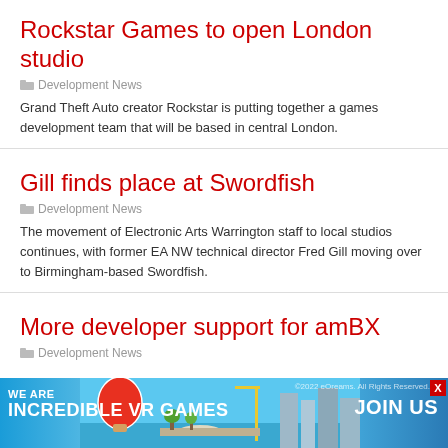Rockstar Games to open London studio
Development News
Grand Theft Auto creator Rockstar is putting together a games development team that will be based in central London.
Gill finds place at Swordfish
Development News
The movement of Electronic Arts Warrington staff to local studios continues, with former EA NW technical director Fred Gill moving over to Birmingham-based Swordfish.
More developer support for amBX
Development News
[Figure (infographic): Advertisement banner: WE ARE INCREDIBLE VR GAMES with JOIN US button, showing a colorful VR game illustration with a city/port scene]